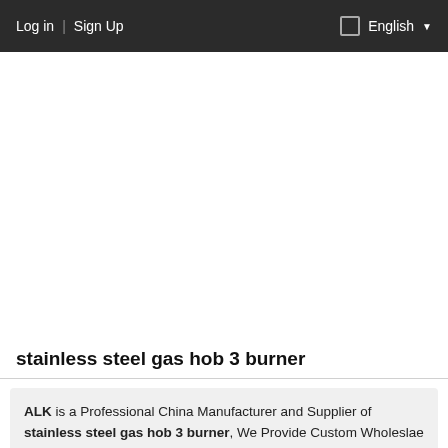Log in  |  Sign Up  |  English
[Figure (screenshot): White/blank area representing banner or ad space]
stainless-steel-gas-hob-3-bu  [search icon]  [button icon]
stainless steel gas hob 3 burner
ALK is a Professional China Manufacturer and Supplier of stainless steel gas hob 3 burner, We Provide Custom Wholeslae stainless steel gas hob 3 burner factory, Private Label stainless steel gas hob 3 burner and stainless steel gas hob 3 burner Contract Manufacturing, Contact us now to get the best